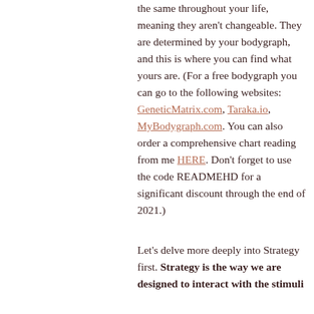the same throughout your life, meaning they aren't changeable. They are determined by your bodygraph, and this is where you can find what yours are. (For a free bodygraph you can go to the following websites: GeneticMatrix.com, Taraka.io, MyBodygraph.com. You can also order a comprehensive chart reading from me HERE. Don't forget to use the code READMEHD for a significant discount through the end of 2021.)
Let's delve more deeply into Strategy first. Strategy is the way we are designed to interact with the stimuli